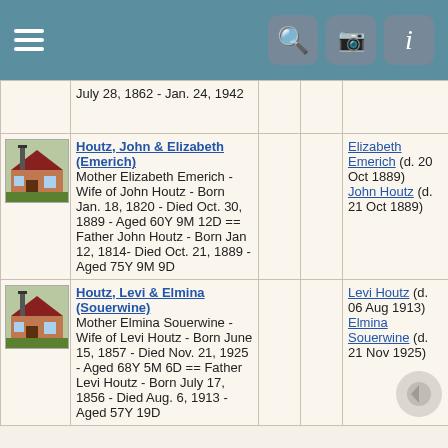App navigation header with hamburger menu, search, camera, and info icons
| Image | Name/Description |  |  | Deceased |
| --- | --- | --- | --- | --- |
| [image] | July 28, 1862 - Jan. 24, 1942 |  |  |  |
| [image] | Houtz, John & Elizabeth (Emerich)
Mother Elizabeth Emerich - Wife of John Houtz - Born Jan. 18, 1820 - Died Oct. 30, 1889 - Aged 60Y 9M 12D == Father John Houtz - Born Jan 12, 1814- Died Oct. 21, 1889 - Aged 75Y 9M 9D |  |  | Elizabeth Emerich (d. 20 Oct 1889)
John Houtz (d. 21 Oct 1889) |
| [image] | Houtz, Levi & Elmina (Souerwine)
Mother Elmina Souerwine - Wife of Levi Houtz - Born June 15, 1857 - Died Nov. 21, 1925 - Aged 68Y 5M 6D == Father Levi Houtz - Born July 17, 1856 - Died Aug. 6, 1913 - Aged 57Y 19D |  |  | Levi Houtz (d. 06 Aug 1913)
Elmina Souerwine (d. 21 Nov 1925) |